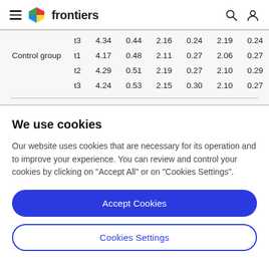frontiers
|  | t3 | 4.34 | 0.44 | 2.16 | 0.24 | 2.19 | 0.24 |
| Control group | t1 | 4.17 | 0.48 | 2.11 | 0.27 | 2.06 | 0.27 |
|  | t2 | 4.29 | 0.51 | 2.19 | 0.27 | 2.10 | 0.29 |
|  | t3 | 4.24 | 0.53 | 2.15 | 0.30 | 2.10 | 0.27 |
We use cookies
Our website uses cookies that are necessary for its operation and to improve your experience. You can review and control your cookies by clicking on "Accept All" or on "Cookies Settings".